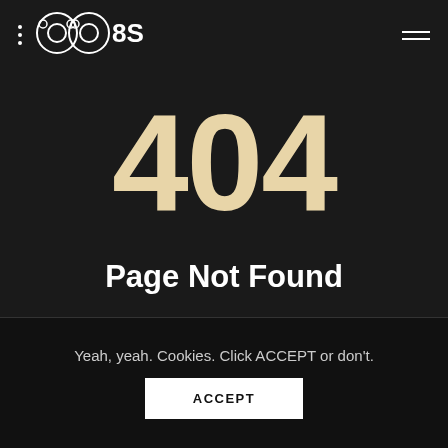[Figure (logo): Game controller / OBS-style logo with two circular icons and 'OS' text in white on dark background]
404
Page Not Found
Yeah, yeah. Cookies. Click ACCEPT or don't.
ACCEPT